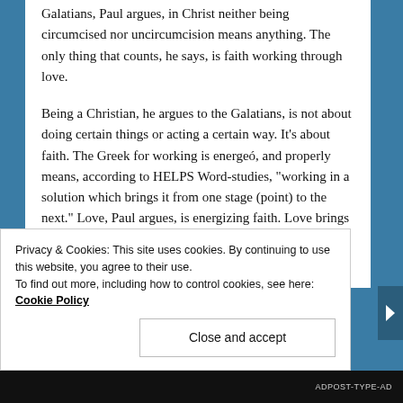Galatians, Paul argues, in Christ neither being circumcised nor uncircumcision means anything. The only thing that counts, he says, is faith working through love.
Being a Christian, he argues to the Galatians, is not about doing certain things or acting a certain way. It’s about faith. The Greek for working is energeó, and properly means, according to HELPS Word-studies, “working in a solution which brings it from one stage (point) to the next.” Love, Paul argues, is energizing faith. Love brings faith from one point to the next.
Privacy & Cookies: This site uses cookies. By continuing to use this website, you agree to their use.
To find out more, including how to control cookies, see here: Cookie Policy
Close and accept